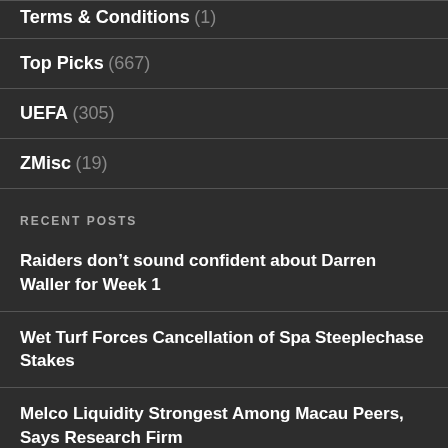Terms & Conditions (1)
Top Picks (667)
UEFA (305)
ZMisc (19)
RECENT POSTS
Raiders don’t sound confident about Darren Waller for Week 1
Wet Turf Forces Cancellation of Spa Steeplechase Stakes
Melco Liquidity Strongest Among Macau Peers, Says Research Firm